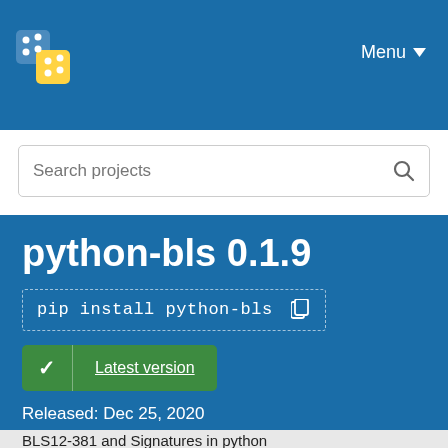Menu
Search projects
python-bls 0.1.9
pip install python-bls
Latest version
Released: Dec 25, 2020
BLS12-381 and Signatures in python